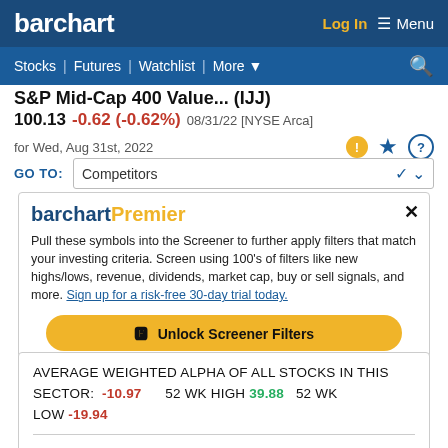barchart | Log In | Menu | Stocks | Futures | Watchlist | More
S&P Mid-Cap 400 Value... (IJJ)
100.13 -0.62 (-0.62%) 08/31/22 [NYSE Arca]
for Wed, Aug 31st, 2022
GO TO: Competitors
[Figure (screenshot): barchartPremier promotional box with unlock screener filters button]
AVERAGE WEIGHTED ALPHA OF ALL STOCKS IN THIS SECTOR: -10.97   52 WK HIGH 39.88   52 WK LOW -19.94